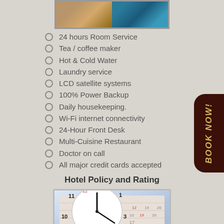[Figure (photo): Two hotel facility photos side by side: gym/fitness room and piano/lounge area]
24 hours Room Service
Tea / coffee maker
Hot & Cold Water
Laundry service
LCD satellite systems
100% Power Backup
Daily housekeeping.
Wi-Fi internet connectivity
24-Hour Front Desk
Multi-Cuisine Restaurant
Doctor on call
All major credit cards accepted
Hotel Policy and Rating
[Figure (photo): Clock overlaid on a calendar image]